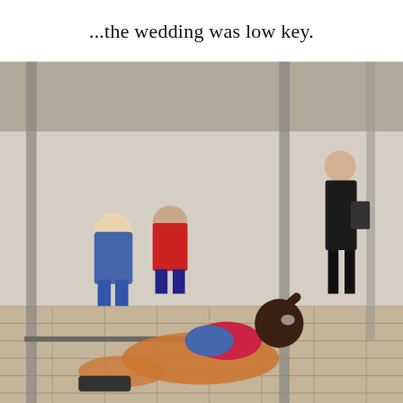...the wedding was low key.
[Figure (photo): Outdoor street scene showing a limbo dancer in a shiny copper/orange outfit sliding very low under a bar on a brick plaza, with spectators seated and standing in the background.]
As a paranoid schizophrenic, I take the elevator alone to my top floor apartment